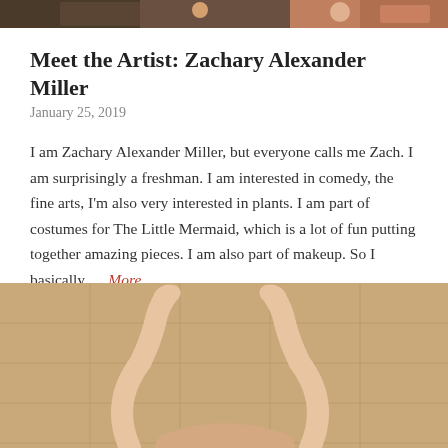[Figure (photo): Top cropped photo strip of people]
Meet the Artist: Zachary Alexander Miller
January 25, 2019
I am Zachary Alexander Miller, but everyone calls me Zach. I am surprisingly a freshman. I am interested in comedy, the fine arts, I'm also very interested in plants. I am part of costumes for The Little Mermaid, which is a lot of fun putting together amazing pieces. I am also part of makeup. So I basically … More
[Figure (photo): Bottom photo of a person with arms raised against a tiled wall]